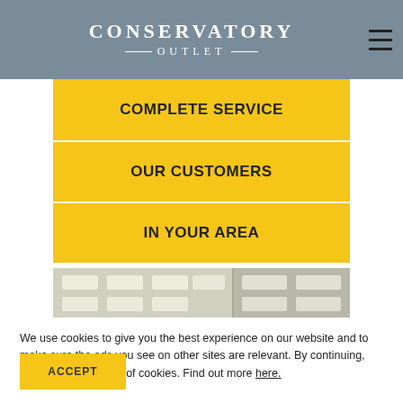CONSERVATORY OUTLET
COMPLETE SERVICE
OUR CUSTOMERS
IN YOUR AREA
[Figure (photo): Interior ceiling photo showing recessed lighting panels]
We use cookies to give you the best experience on our website and to make sure the ads you see on other sites are relevant. By continuing, you agree to our use of cookies. Find out more here.
ACCEPT